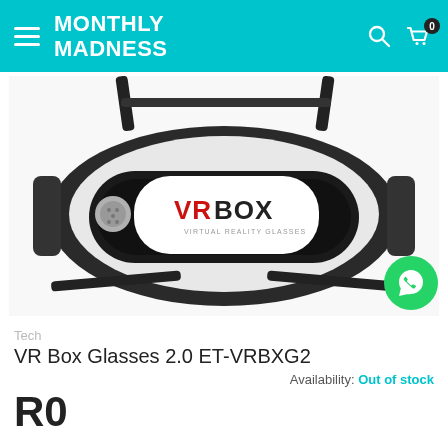MONTHLY MADNESS
[Figure (photo): VR Box 2.0 virtual reality headset in white and black, with head strap, front-facing view. The front face panel shows 'VR BOX VIRTUAL REALITY GLASSES' branding in red and black text.]
Tech
VR Box Glasses 2.0 ET-VRBXG2
Availability: Out of stock
R0